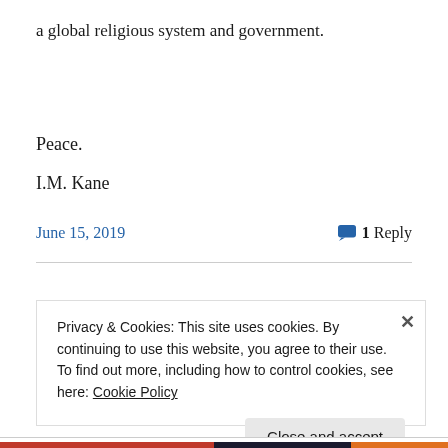a global religious system and government.
Peace.
I.M. Kane
June 15, 2019
1 Reply
Privacy & Cookies: This site uses cookies. By continuing to use this website, you agree to their use.
To find out more, including how to control cookies, see here: Cookie Policy
Close and accept